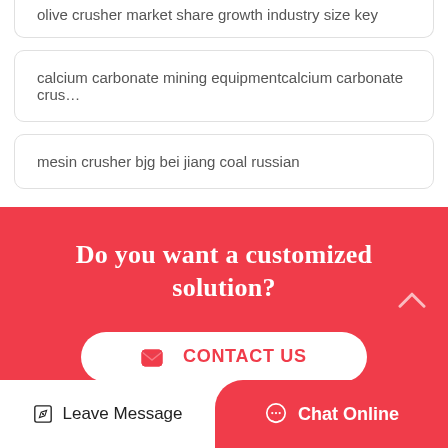olive crusher market share growth industry size key
calcium carbonate mining equipmentcalcium carbonate crus…
mesin crusher bjg bei jiang coal russian
Do you want a customized solution?
CONTACT US
Leave Message
Chat Online